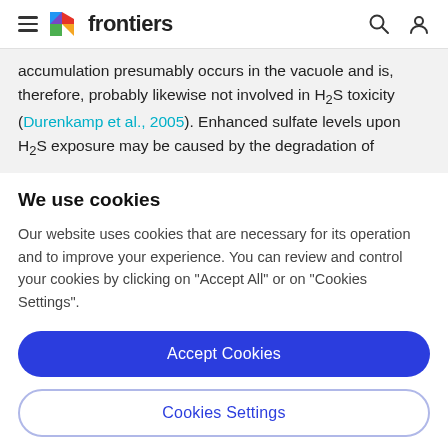frontiers
accumulation presumably occurs in the vacuole and is, therefore, probably likewise not involved in H2S toxicity (Durenkamp et al., 2005). Enhanced sulfate levels upon H2S exposure may be caused by the degradation of
We use cookies
Our website uses cookies that are necessary for its operation and to improve your experience. You can review and control your cookies by clicking on "Accept All" or on "Cookies Settings".
Accept Cookies
Cookies Settings